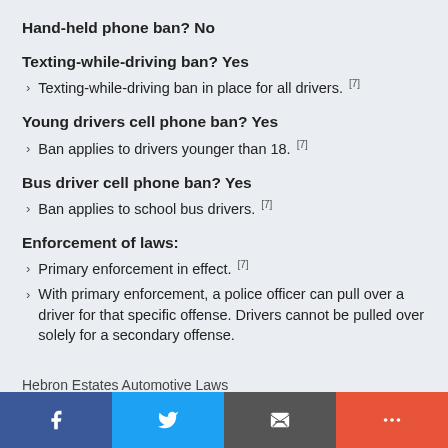Hand-held phone ban? No
Texting-while-driving ban? Yes
Texting-while-driving ban in place for all drivers. [7]
Young drivers cell phone ban? Yes
Ban applies to drivers younger than 18. [7]
Bus driver cell phone ban? Yes
Ban applies to school bus drivers. [7]
Enforcement of laws:
Primary enforcement in effect. [7]
With primary enforcement, a police officer can pull over a driver for that specific offense. Drivers cannot be pulled over solely for a secondary offense.
Hebron Estates Automotive Laws